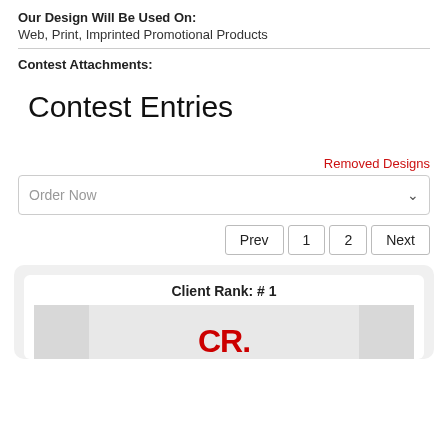Our Design Will Be Used On: Web, Print, Imprinted Promotional Products
Contest Attachments:
Contest Entries
Removed Designs
Order Now
Prev 1 2 Next
Client Rank: # 1